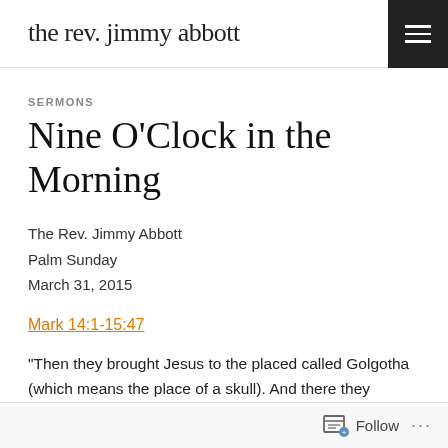the rev. jimmy abbott
SERMONS
Nine O'Clock in the Morning
The Rev. Jimmy Abbott
Palm Sunday
March 31, 2015
Mark 14:1-15:47
“Then they brought Jesus to the placed called Golgotha (which means the place of a skull). And there they offered
Follow ...